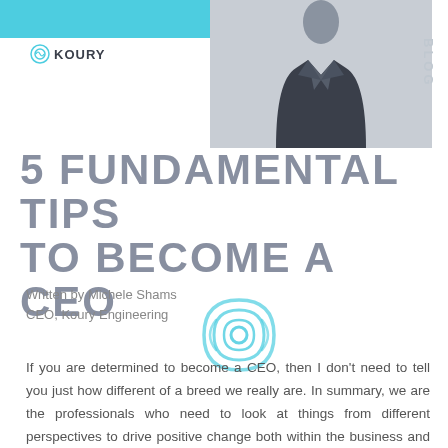[Figure (photo): Header image with cyan bar top-left and person in dark suit on gray background, with Koury logo overlay and BLOG vertical text on right]
5 FUNDAMENTAL TIPS TO BECOME A CEO
Written by Michele Shams
CEO, Koury Engineering
[Figure (logo): Koury Engineering circular wifi/signal icon watermark in cyan]
If you are determined to become a CEO, then I don't need to tell you just how different of a breed we really are. In summary, we are the professionals who need to look at things from different perspectives to drive positive change both within the business and outside of it. Furthermore, we are the ones who have to be positioned, ready, and effective to spearhead any and all obstacles that will